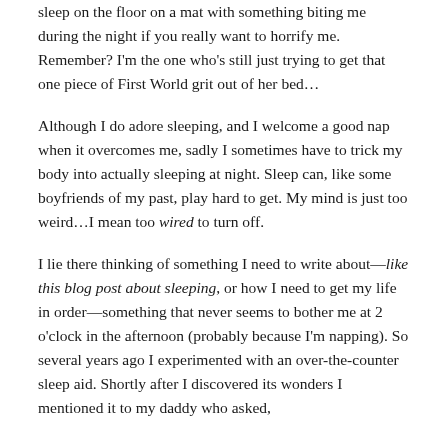sleep on the floor on a mat with something biting me during the night if you really want to horrify me. Remember? I'm the one who's still just trying to get that one piece of First World grit out of her bed…
Although I do adore sleeping, and I welcome a good nap when it overcomes me, sadly I sometimes have to trick my body into actually sleeping at night. Sleep can, like some boyfriends of my past, play hard to get. My mind is just too weird…I mean too wired to turn off.
I lie there thinking of something I need to write about—like this blog post about sleeping, or how I need to get my life in order—something that never seems to bother me at 2 o'clock in the afternoon (probably because I'm napping). So several years ago I experimented with an over-the-counter sleep aid. Shortly after I discovered its wonders I mentioned it to my daddy who asked,